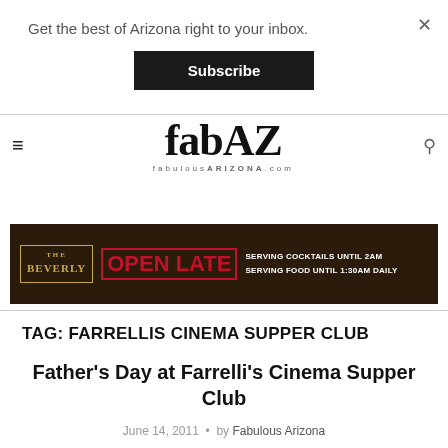Get the best of Arizona right to your inbox.
Subscribe
[Figure (logo): fabAZ / fabulousARIZONA.com site logo with hamburger menu and search icon]
[Figure (infographic): The Beverly Open Late ad banner: serving cocktails until 2AM, serving food until 1:30AM daily]
TAG: FARRELLIS CINEMA SUPPER CLUB
Father's Day at Farrelli's Cinema Supper Club
June 14, 2011  •  by Fabulous Arizona